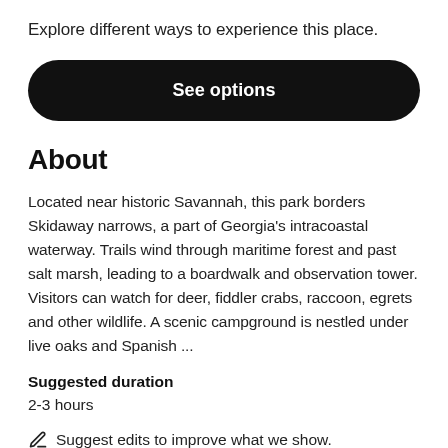Explore different ways to experience this place.
[Figure (other): Black rounded rectangle button labeled 'See options']
About
Located near historic Savannah, this park borders Skidaway narrows, a part of Georgia's intracoastal waterway. Trails wind through maritime forest and past salt marsh, leading to a boardwalk and observation tower. Visitors can watch for deer, fiddler crabs, raccoon, egrets and other wildlife. A scenic campground is nestled under live oaks and Spanish ...
Suggested duration
2-3 hours
Suggest edits to improve what we show.